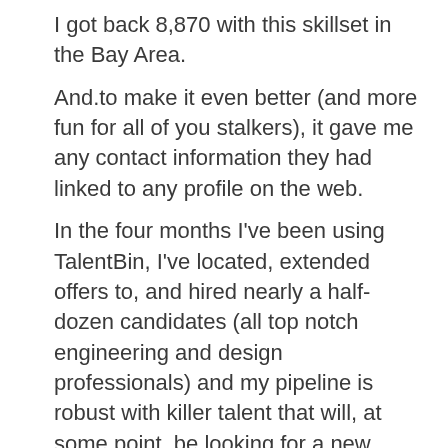I got back 8,870 with this skillset in the Bay Area.
And.to make it even better (and more fun for all of you stalkers), it gave me any contact information they had linked to any profile on the web.
In the four months I’ve been using TalentBin, I’ve located, extended offers to, and hired nearly a half-dozen candidates (all top notch engineering and design professionals) and my pipeline is robust with killer talent that will, at some point, be looking for a new company to join.
TalentBin – Boolean Strings